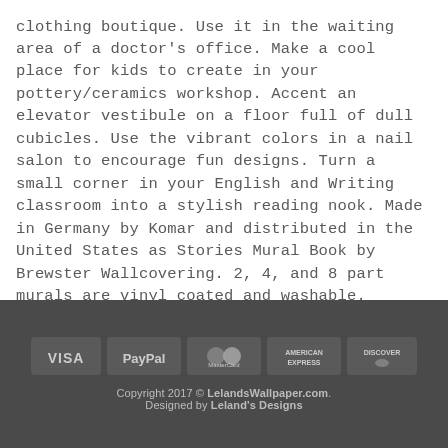florist shop. Dress up the dressing rooms in your clothing boutique. Use it in the waiting area of a doctor's office. Make a cool place for kids to create in your pottery/ceramics workshop. Accent an elevator vestibule on a floor full of dull cubicles. Use the vibrant colors in a nail salon to encourage fun designs. Turn a small corner in your English and Writing classroom into a stylish reading nook. Made in Germany by Komar and distributed in the United States as Stories Mural Book by Brewster Wallcovering. 2, 4, and 8 part murals are vinyl coated and washable.
[Figure (other): Payment method icons: VISA, PayPal, MasterCard, American Express, Discover]
Copyright 2017 © LelandsWallpaper.com. Designed by Leland's Designs